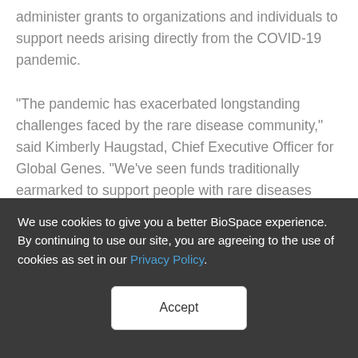administer grants to organizations and individuals to support needs arising directly from the COVID-19 pandemic.

“The pandemic has exacerbated longstanding challenges faced by the rare disease community,” said Kimberly Haugstad, Chief Executive Officer for Global Genes. “We’ve seen funds traditionally earmarked to support people with rare diseases diverted to address COVID-19 generally. The Rare
We use cookies to give you a better BioSpace experience. By continuing to use our site, you are agreeing to the use of cookies as set in our Privacy Policy.
Accept